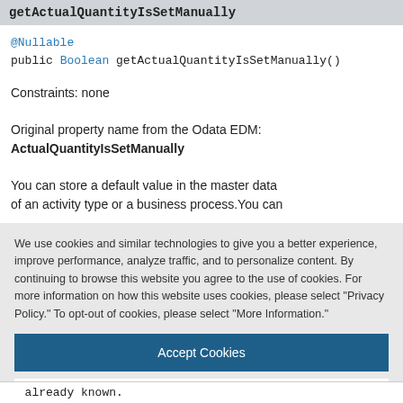getActualQuantityIsSetManually
@Nullable
public Boolean getActualQuantityIsSetManually()
Constraints: none
Original property name from the Odata EDM: ActualQuantityIsSetManually
You can store a default value in the master data of an activity type or a business process.You can
We use cookies and similar technologies to give you a better experience, improve performance, analyze traffic, and to personalize content. By continuing to browse this website you agree to the use of cookies. For more information on how this website uses cookies, please select "Privacy Policy." To opt-out of cookies, please select "More Information."
Accept Cookies
More Information
Privacy Policy | Powered by: TrustArc
already known.